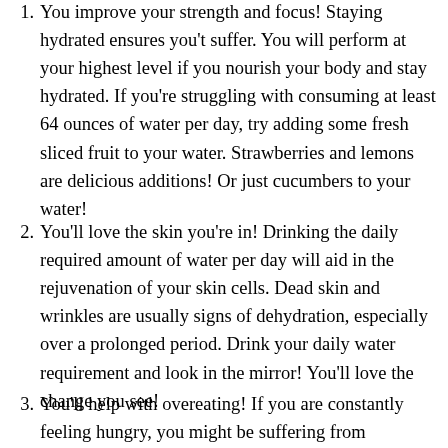1. You improve your strength and focus! Staying hydrated ensures you't suffer. You will perform at your highest level if you nourish your body and stay hydrated. If you're struggling with consuming at least 64 ounces of water per day, try adding some fresh sliced fruit to your water. Strawberries and lemons are delicious additions! Or just cucumbers to your water!
2. You'll love the skin you're in! Drinking the daily required amount of water per day will aid in the rejuvenation of your skin cells. Dead skin and wrinkles are usually signs of dehydration, especially over a prolonged period. Drink your daily water requirement and look in the mirror! You'll love the change you see!
3. You'll help with overeating! If you are constantly feeling hungry, you might be suffering from dehydration. Water acts as a suppressant to your appetite and a glass of water before your meals will help you with portion control